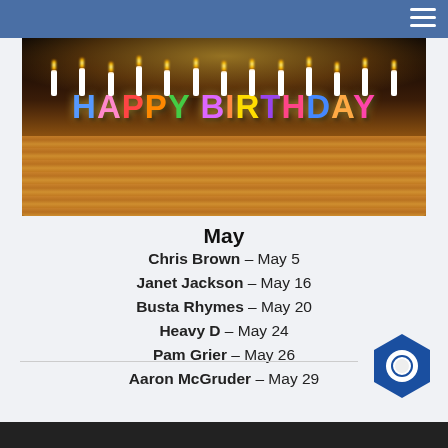[Figure (photo): Birthday cake with lit candles spelling out HAPPY BIRTHDAY in colorful letters on top of a cream-colored layered cake, dark background]
May
Chris Brown – May 5
Janet Jackson – May 16
Busta Rhymes – May 20
Heavy D – May 24
Pam Grier – May 26
Aaron McGruder – May 29